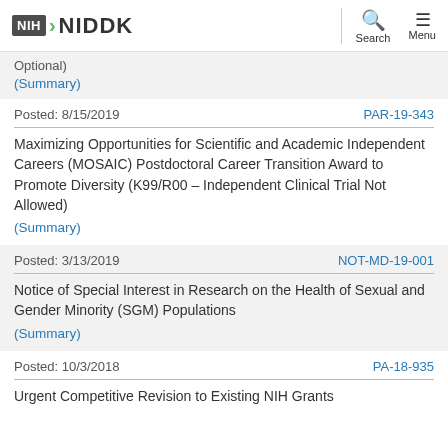NIH NIDDK | Search | Menu
Optional)
(Summary)
Posted: 8/15/2019    PAR-19-343
Maximizing Opportunities for Scientific and Academic Independent Careers (MOSAIC) Postdoctoral Career Transition Award to Promote Diversity (K99/R00 – Independent Clinical Trial Not Allowed)
(Summary)
Posted: 3/13/2019    NOT-MD-19-001
Notice of Special Interest in Research on the Health of Sexual and Gender Minority (SGM) Populations
(Summary)
Posted: 10/3/2018    PA-18-935
Urgent Competitive Revision to Existing NIH Grants